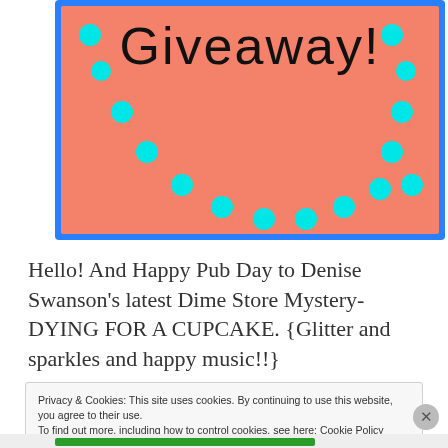[Figure (illustration): Giveaway promotional image: salmon/coral background with cyan polka dots arranged in a scattered arc pattern, blue border, text 'Giveaway!' in black handwritten-style font at top]
Hello! And Happy Pub Day to Denise Swanson's latest Dime Store Mystery- DYING FOR A CUPCAKE. {Glitter and sparkles and happy music!!}
Privacy & Cookies: This site uses cookies. By continuing to use this website, you agree to their use. To find out more, including how to control cookies, see here: Cookie Policy
Close and accept